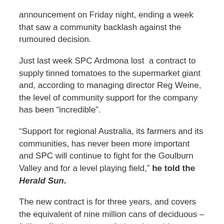announcement on Friday night, ending a week that saw a community backlash against the rumoured decision.
Just last week SPC Ardmona lost a contract to supply tinned tomatoes to the supermarket giant and, according to managing director Reg Weine, the level of community support for the company has been “incredible”.
“Support for regional Australia, its farmers and its communities, has never been more important and SPC will continue to fight for the Goulburn Valley and for a level playing field,” he told the Herald Sun.
The new contract is for three years, and covers the equivalent of nine million cans of deciduous – falling off when mature – fruit, to be sold as Woolworths’ private label product. A separate deal for tinned tomatoes ended last week.
“The vast majority of the Woolworths and SPC partnership relates to SPC’s iconic branded products – in addition to